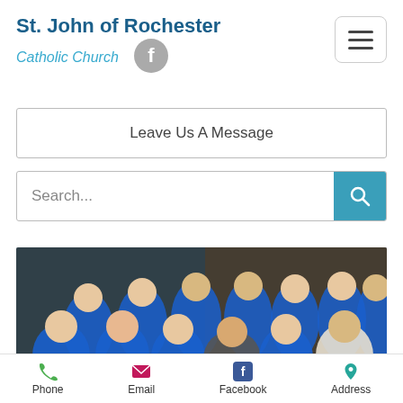St. John of Rochester
Catholic Church
[Figure (logo): Facebook logo icon (grey circle with white f)]
[Figure (other): Hamburger menu button (three horizontal lines in rounded rectangle border)]
Leave Us A Message
Search...
[Figure (photo): Group photo of teenagers/youth group wearing blue hoodies, standing together indoors]
Phone
Email
Facebook
Address